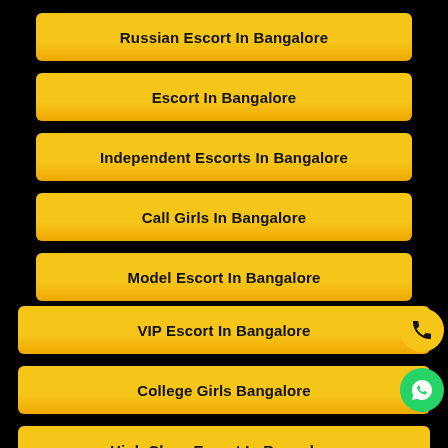Russian Escort In Bangalore
Escort In Bangalore
Independent Escorts In Bangalore
Call Girls In Bangalore
Model Escort In Bangalore
VIP Escort In Bangalore
College Girls Bangalore
High Class Escort In Bangalore